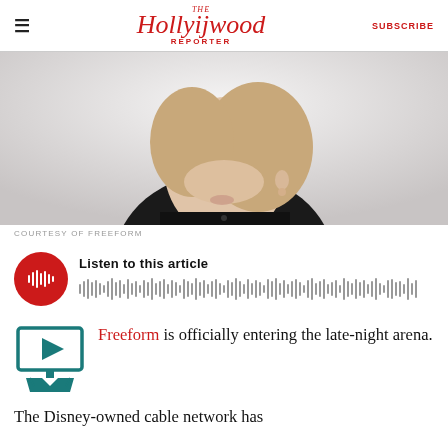The Hollywood Reporter | SUBSCRIBE
[Figure (photo): Portrait photo of a blonde woman in a black sleeveless top, cropped at the shoulders/neck, on a light background]
COURTESY OF FREEFORM
[Figure (infographic): Audio player widget: red circular play button with waveform icon, followed by 'Listen to this article' label and an audio waveform bar visualization]
Freeform is officially entering the late-night arena.
The Disney-owned cable network has